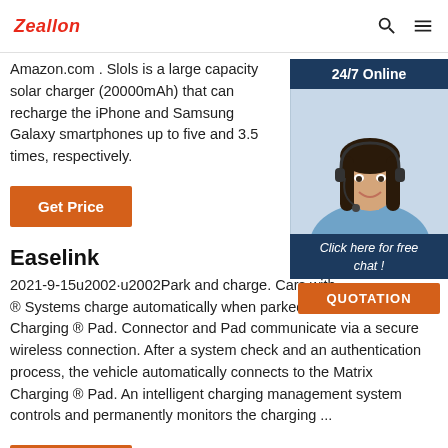Zeallon
Amazon.com . Slols is a large capacity solar charger (20000mAh) that can recharge the iPhone and Samsung Galaxy smartphones up to five and 3.5 times, respectively.
[Figure (photo): Woman with headset smiling, customer support representative, with 24/7 Online header and Click here for free chat! text, and QUOTATION button]
Get Price
Easelink
2021-9-15u2002·u2002Park and charge. Cars with ® Systems charge automatically when parked over Charging ® Pad. Connector and Pad communicate via a secure wireless connection. After a system check and an authentication process, the vehicle automatically connects to the Matrix Charging ® Pad. An intelligent charging management system controls and permanently monitors the charging ...
Get Price